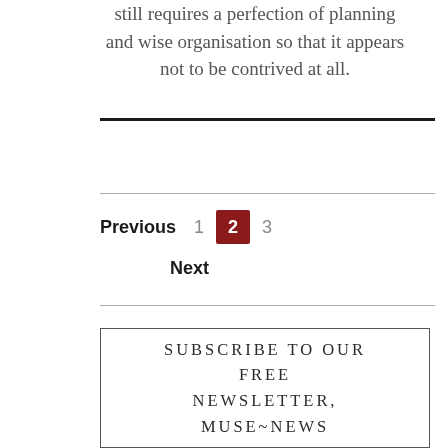still requires a perfection of planning and wise organisation so that it appears not to be contrived at all.
Previous  1  2  3
Next
SUBSCRIBE TO OUR FREE NEWSLETTER, MUSE~NEWS